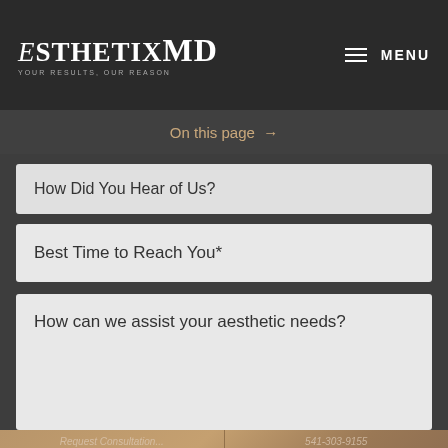EsthetixMD — Your Results, Our Reason | MENU
On this page →
How Did You Hear of Us?
Best Time to Reach You*
How can we assist your aesthetic needs?
Request Consultation | 541-303-9155 | Appointment